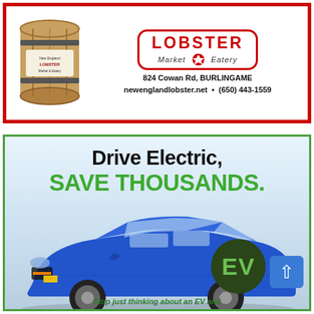[Figure (advertisement): Advertisement for New England Lobster Market & Eatery showing a barrel illustration and lobster logo with address: 824 Cowan Rd, BURLINGAME, newenglandlobster.net, (650) 443-1559]
[Figure (advertisement): Electric vehicle advertisement with headline 'Drive Electric, SAVE THOUSANDS.' showing a blue Chevrolet Bolt EV and EV green badge. Bottom text: 'Stop just thinking about an EV and']